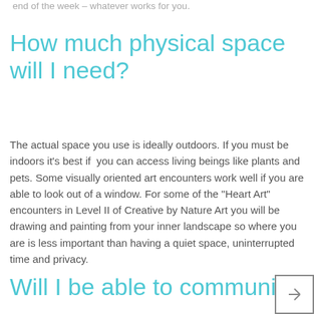end of the week – whatever works for you.
How much physical space will I need?
The actual space you use is ideally outdoors. If you must be indoors it's best if you can access living beings like plants and pets. Some visually oriented art encounters work well if you are able to look out of a window. For some of the "Heart Art" encounters in Level II of Creative by Nature Art you will be drawing and painting from your inner landscape so where you are is less important than having a quiet space, uninterrupted time and privacy.
Will I be able to communicate